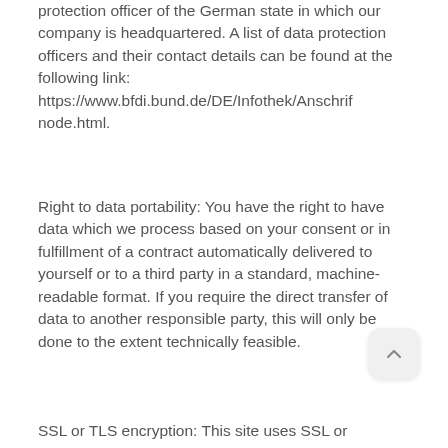protection officer of the German state in which our company is headquartered. A list of data protection officers and their contact details can be found at the following link: https://www.bfdi.bund.de/DE/Infothek/Anschrif node.html.
Right to data portability: You have the right to have data which we process based on your consent or in fulfillment of a contract automatically delivered to yourself or to a third party in a standard, machine-readable format. If you require the direct transfer of data to another responsible party, this will only be done to the extent technically feasible.
SSL or TLS encryption: This site uses SSL or